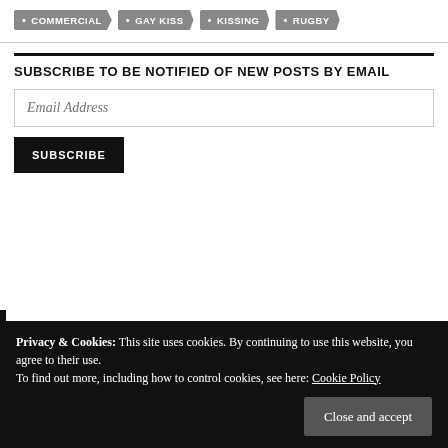• COMMERCIAL
• GAY KISS
• KISSING
• RUGBY
SUBSCRIBE TO BE NOTIFIED OF NEW POSTS BY EMAIL
Email Address
SUBSCRIBE
Privacy & Cookies: This site uses cookies. By continuing to use this website, you agree to their use.
To find out more, including how to control cookies, see here: Cookie Policy
Close and accept